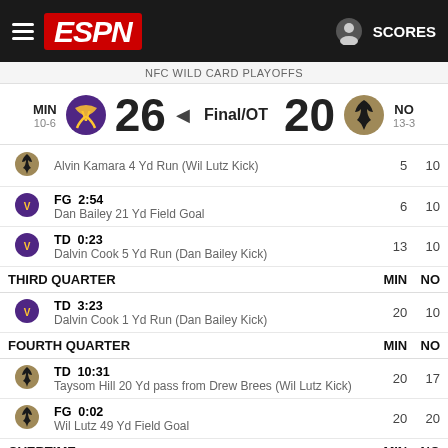ESPN — NFC WILD CARD PLAYOFFS
MIN 10-6  26  Final/OT  20  NO 13-3
| Team | Play | MIN | NO |
| --- | --- | --- | --- |
| NO | Alvin Kamara 4 Yd Run (Wil Lutz Kick) | 5 | 10 |
| MIN | FG 2:54 / Dan Bailey 21 Yd Field Goal | 6 | 10 |
| MIN | TD 0:23 / Dalvin Cook 5 Yd Run (Dan Bailey Kick) | 13 | 10 |
| THIRD QUARTER |  | MIN | NO |
| MIN | TD 3:23 / Dalvin Cook 1 Yd Run (Dan Bailey Kick) | 20 | 10 |
| FOURTH QUARTER |  | MIN | NO |
| NO | TD 10:31 / Taysom Hill 20 Yd pass from Drew Brees (Wil Lutz Kick) | 20 | 17 |
| NO | FG 0:02 / Wil Lutz 49 Yd Field Goal | 20 | 20 |
| OVERTIME |  | MIN | NO |
| MIN | TD 10:40 / Kyle Rudolph 4 Yd pass from Kirk Cousins | 26 | 20 |